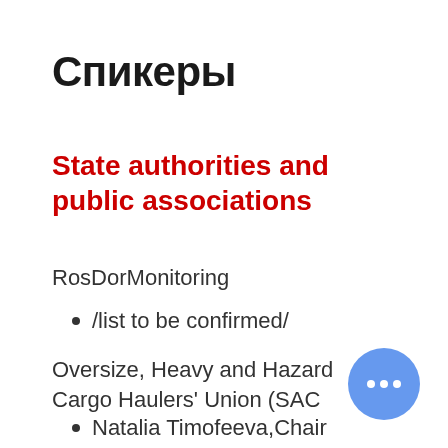Спикеры
State authorities and public associations
RosDorMonitoring
/list to be confirmed/
Oversize, Heavy and Hazard Cargo Haulers' Union (SAC
Natalia Timofeeva,Chair